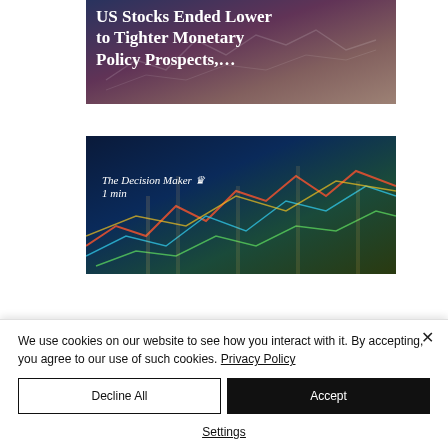[Figure (photo): Article thumbnail image with dark blue/maroon tones showing financial chart in background with white bold serif title text: 'US Stocks Ended Lower to Tighter Monetary Policy Prospects,…']
[Figure (photo): Article thumbnail image with dark navy/teal tones showing colorful stock market chart lines in background. Overlaid text reads 'The Decision Maker [crown icon]' and '1 min']
We use cookies on our website to see how you interact with it. By accepting, you agree to our use of such cookies. Privacy Policy
Decline All
Accept
Settings